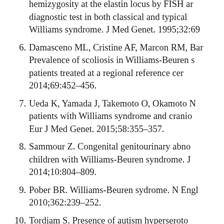(continuation) hemizygosity at the elastin locus by FISH an diagnostic test in both classical and typical Williams syndrome. J Med Genet. 1995;32:69
6. Damasceno ML, Cristine AF, Marcon RM, Bar Prevalence of scoliosis in Williams-Beuren s patients treated at a regional reference cer 2014;69:452–456.
7. Ueda K, Yamada J, Takemoto O, Okamoto N patients with Williams syndrome and cranio Eur J Med Genet. 2015;58:355–357.
8. Sammour Z. Congenital genitourinary abno children with Williams-Beuren syndrome. J 2014;10:804–809.
9. Pober BR. Williams-Beuren sydrome. N Engl 2010;362:239–252.
10. Tordjam S. Presence of autism hyperseroto severe expressive language impairment in W Beuren syndrome. Mol Autism. 2013;4:20